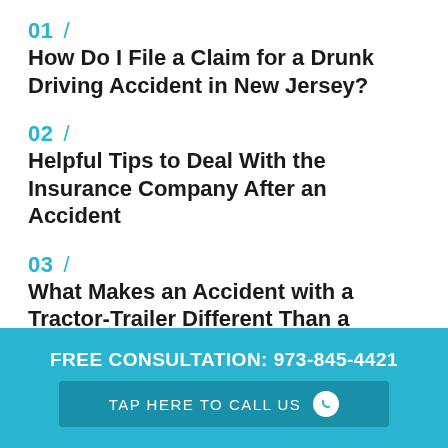01 / How Do I File a Claim for a Drunk Driving Accident in New Jersey?
02 / Helpful Tips to Deal With the Insurance Company After an Accident
03 / What Makes an Accident with a Tractor-Trailer Different Than a Regular Automobile Accident?
FREE CONSULTATION: 973-845-4421 | TAP HERE TO CALL US